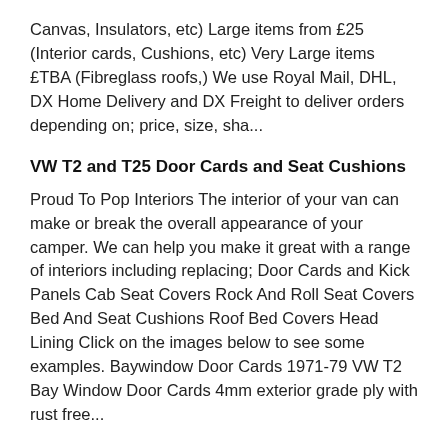Canvas, Insulators, etc) Large items from £25 (Interior cards, Cushions, etc) Very Large items £TBA (Fibreglass roofs,) We use Royal Mail, DHL, DX Home Delivery and DX Freight to deliver orders depending on; price, size, sha...
VW T2 and T25 Door Cards and Seat Cushions
Proud To Pop Interiors The interior of your van can make or break the overall appearance of your camper. We can help you make it great with a range of interiors including replacing; Door Cards and Kick Panels Cab Seat Covers Rock And Roll Seat Covers Bed And Seat Cushions Roof Bed Covers Head Lining Click on the images below to see some examples. Baywindow Door Cards 1971-79 VW T2 Bay Window Door Cards 4mm exterior grade ply with rust free...
Terms And Conditions
Welcome to ProudtoPop and thank you for shopping with us, please read these conditions carefully as by